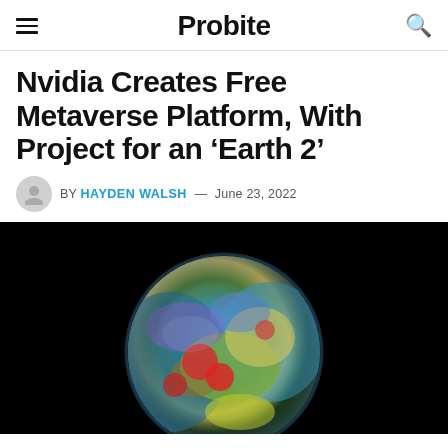Probite
Nvidia Creates Free Metaverse Platform, With Project for an ‘Earth 2’
BY HAYDEN WALSH — June 23, 2022
[Figure (photo): Artistic rendering of Earth as a globe against a black background, with colorful swirling patterns and red cloud-like formations.]